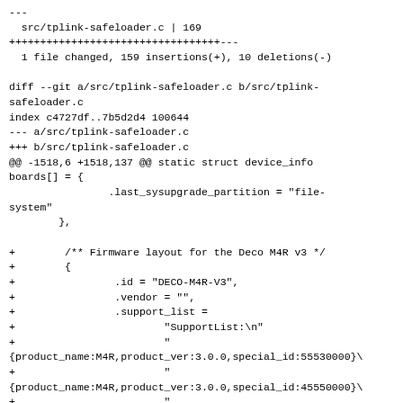---
  src/tplink-safeloader.c | 169
++++++++++++++++++++++++++++++++++---
  1 file changed, 159 insertions(+), 10 deletions(-)

diff --git a/src/tplink-safeloader.c b/src/tplink-safeloader.c
index c4727df..7b5d2d4 100644
--- a/src/tplink-safeloader.c
+++ b/src/tplink-safeloader.c
@@ -1518,6 +1518,137 @@ static struct device_info boards[] = {
                .last_sysupgrade_partition = "file-system"
        },

+        /** Firmware layout for the Deco M4R v3 */
+        {
+                .id = "DECO-M4R-V3",
+                .vendor = "",
+                .support_list =
+                        "SupportList:\n"
+                        "{product_name:M4R,product_ver:3.0.0,special_id:55530000}\
+                        "{product_name:M4R,product_ver:3.0.0,special_id:45550000}\
+                        "{product_name:M4R,product_ver:3.0.0,special_id:43410000}\
+                        "{product_name:M4R,product_ver:3.0.0,special_id:4A500000}\